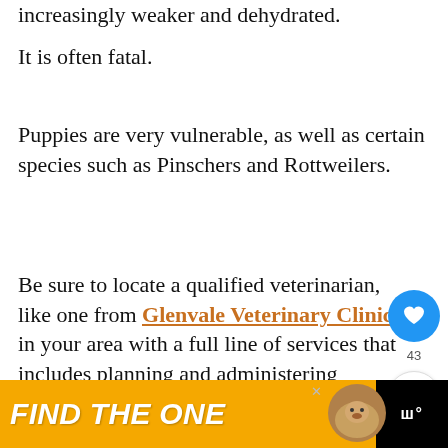increasingly weaker and dehydrated.
It is often fatal.
Puppies are very vulnerable, as well as certain species such as Pinschers and Rottweilers.
Be sure to locate a qualified veterinarian, like one from Glenvale Veterinary Clinic, in your area with a full line of services that includes planning and administering vaccinations.
[Figure (screenshot): Social media UI overlay with heart/like button showing 43 likes and a share button]
[Figure (screenshot): What's Next widget showing puppy vaccination article thumbnail with two puppies]
[Figure (screenshot): Advertisement banner at bottom: FIND THE ONE with dog image, yellow background, Motorola W logo]